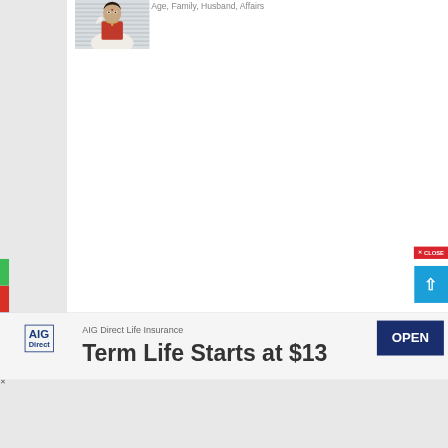Age, Family, Husband, Affairs
[Figure (photo): Woman in red and white saree with jewelry]
[Figure (screenshot): Close button overlay in red with X CLOSE text]
[Figure (screenshot): Scroll to top button in cyan/blue with upward arrow]
[Figure (logo): AIG Direct logo in blue box]
AIG Direct Life Insurance
Term Life Starts at $13
OPEN